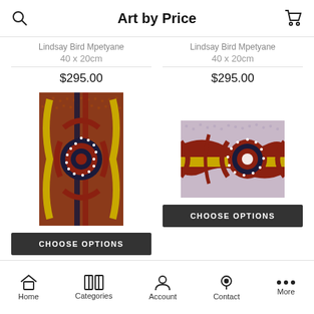Art by Price
Lindsay Bird Mpetyane
40 x 20cm
$295.00
Lindsay Bird Mpetyane
40 x 20cm
$295.00
[Figure (illustration): Aboriginal dot painting, vertical orientation, featuring concentric circles in dark navy and red-brown at center, with radiating arms and yellow curved wave patterns on a dark red-brown dotted background]
[Figure (illustration): Aboriginal dot painting, horizontal orientation, featuring concentric circles in dark navy and red-brown at center-right, yellow horizontal stripe, red-brown radiating arms, on a light purple-pink dotted background]
CHOOSE OPTIONS
CHOOSE OPTIONS
Home   Categories   Account   Contact   More